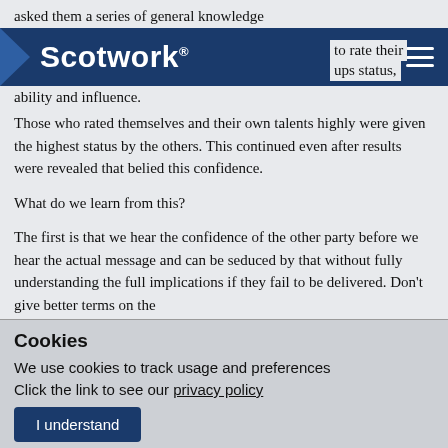asked them a series of general knowledge questions and asked them to rate their group's status, ability and influence.
[Figure (logo): Scotwork navigation bar with logo on dark blue background and hamburger menu icon]
Those who rated themselves and their own talents highly were given the highest status by the others. This continued even after results were revealed that belied this confidence.
What do we learn from this?
The first is that we hear the confidence of the other party before we hear the actual message and can be seduced by that without fully understanding the full implications if they fail to be delivered. Don't give better terms on the
Cookies
We use cookies to track usage and preferences
Click the link to see our privacy policy
I understand